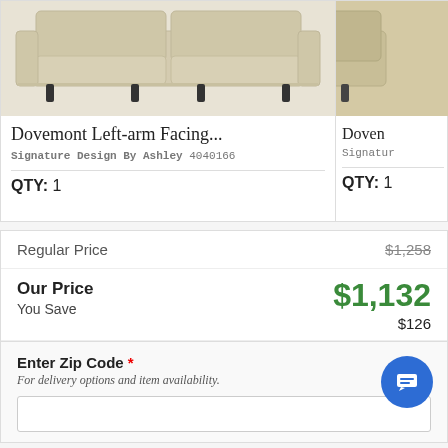[Figure (photo): Photo of Dovemont Left-arm Facing sofa, beige upholstery with nailhead trim and dark legs]
Dovemont Left-arm Facing...
Signature Design By Ashley 4040166
QTY: 1
[Figure (photo): Partial photo of Doven sofa (cropped), beige/tan upholstery]
Doven
Signatur
QTY: 1
| Regular Price | $1,258 |
| Our Price | $1,132 |
| You Save | $126 |
Enter Zip Code *
For delivery options and item availability.